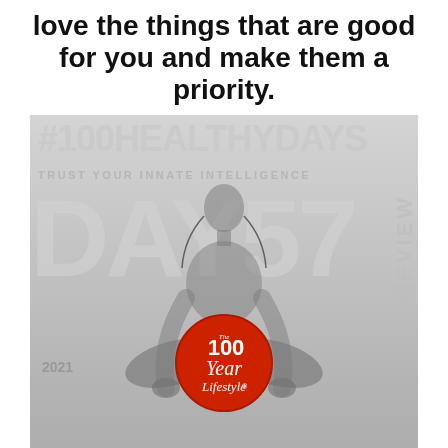love the things that are good for you and make them a priority.
[Figure (illustration): Cover of #100HealthyDays Day 57 Review 2021 booklet by The 100 Year Lifestyle. Features a woman meditating in lotus position in grayscale, with large watermark text '#100HEALTHYDAYS', 'TRUST YOUR INNATE INTELLIGENCE', 'DAY 57', 'REVIEW', and '2021'. An orange circular logo badge reads 'The 100 Year Lifestyle - Adjust Your Lifestyle!']